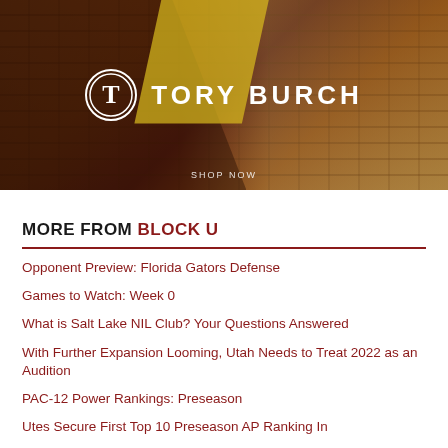[Figure (photo): Tory Burch advertisement banner showing a model against a brick wall background wearing colorful athletic wear. The Tory Burch logo (circular emblem with interlocking T) and brand name 'TORY BURCH' are displayed in white text. 'SHOP NOW' appears at the bottom.]
MORE FROM BLOCK U
Opponent Preview: Florida Gators Defense
Games to Watch: Week 0
What is Salt Lake NIL Club? Your Questions Answered
With Further Expansion Looming, Utah Needs to Treat 2022 as an Audition
PAC-12 Power Rankings: Preseason
Utes Secure First Top 10 Preseason AP Ranking In